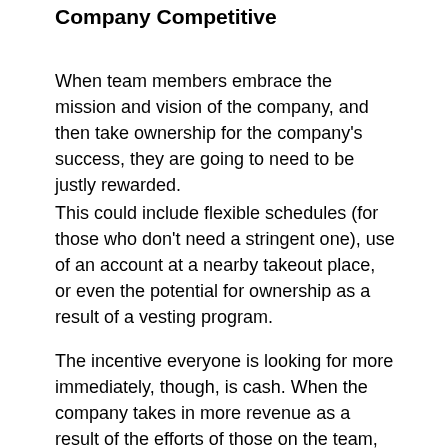Company Competitive
When team members embrace the mission and vision of the company, and then take ownership for the company's success, they are going to need to be justly rewarded.
This could include flexible schedules (for those who don't need a stringent one), use of an account at a nearby takeout place, or even the potential for ownership as a result of a vesting program.
The incentive everyone is looking for more immediately, though, is cash. When the company takes in more revenue as a result of the efforts of those on the team, rewarding them can go a long way not only in making them feel appreciated, but in